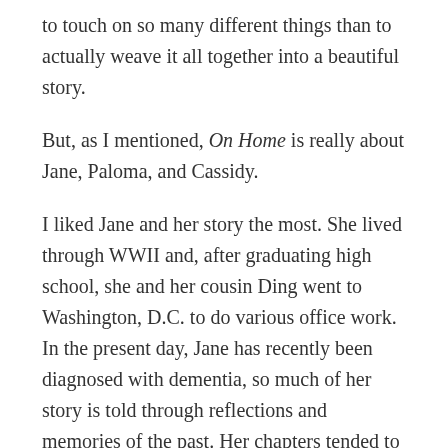to touch on so many different things than to actually weave it all together into a beautiful story.
But, as I mentioned, On Home is really about Jane, Paloma, and Cassidy.
I liked Jane and her story the most. She lived through WWII and, after graduating high school, she and her cousin Ding went to Washington, D.C. to do various office work. In the present day, Jane has recently been diagnosed with dementia, so much of her story is told through reflections and memories of the past. Her chapters tended to blend almost confusingly as she slipped back and forth in time. But the pieces that took place in the past really took me back to the past and what life might have been like for two young women from